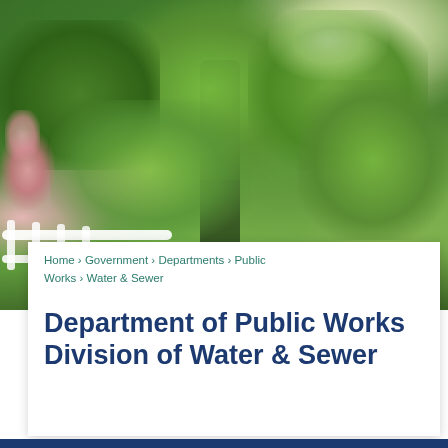[Figure (photo): Outdoor photo of lush green trees and foliage with a white railing visible in the lower left corner. The scene shows dense leafy vegetation including what appears to be a mimosa or similar tree with pink flowers on the left side.]
Home › Government › Departments › Public Works › Water & Sewer
Department of Public Works Division of Water & Sewer